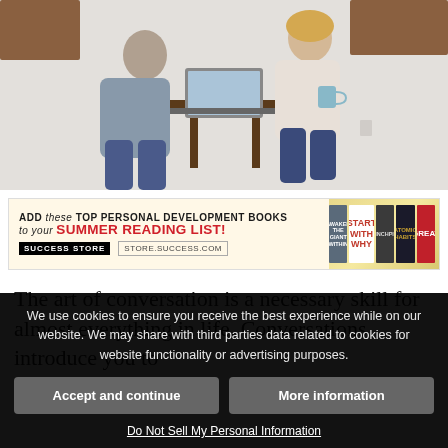[Figure (photo): Two people sitting at a table with a laptop, having a conversation in a casual indoor setting with white brick walls]
[Figure (infographic): Advertisement banner for SUCCESS STORE: 'ADD these TOP PERSONAL DEVELOPMENT BOOKS to your SUMMER READING LIST!' with book covers shown, store.success.com]
The art of conversation is a necessary skill for almost everything in life. Conversations introduce you to
We use cookies to ensure you receive the best experience while on our website. We may share with third parties data related to cookies for website functionality or advertising purposes.
Accept and continue
More information
Do Not Sell My Personal Information